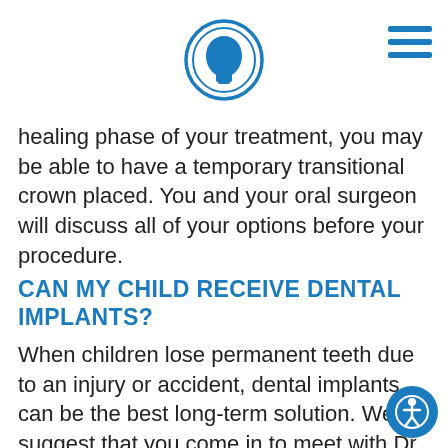[Figure (logo): Circular logo with blue outline of a human head profile facing right, double-ring border in blue]
[Figure (other): Hamburger menu icon with three horizontal blue lines on the top right]
healing phase of your treatment, you may be able to have a temporary transitional crown placed. You and your oral surgeon will discuss all of your options before your procedure.
CAN MY CHILD RECEIVE DENTAL IMPLANTS?
When children lose permanent teeth due to an injury or accident, dental implants can be the best long-term solution. We suggest that you come in to meet with Dr. Roden or Dr. Alling as soon as possible after the tooth is lost to discuss options. In many cases, the surgeon will wait until your child's growth has completed before performing a dental